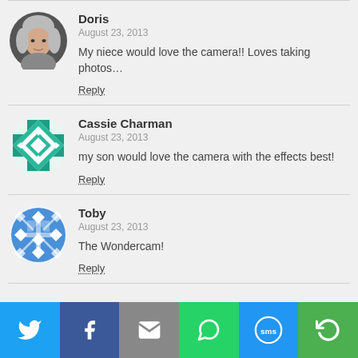Doris
August 23, 2013
My niece would love the camera!! Loves taking photos…
Reply
Cassie Charman
August 23, 2013
my son would love the camera with the effects best!
Reply
Toby
August 23, 2013
The Wondercam!
Reply
[Figure (infographic): Social share bar with Twitter, Facebook, Email, WhatsApp, SMS, and other sharing icons on colored buttons]